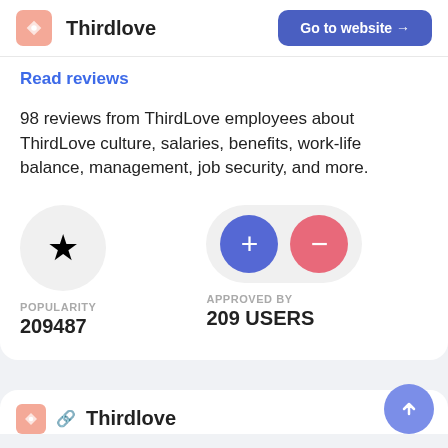Thirdlove | Go to website →
Read reviews
98 reviews from ThirdLove employees about ThirdLove culture, salaries, benefits, work-life balance, management, job security, and more.
POPULARITY
209487
APPROVED BY
209 USERS
Thirdlove